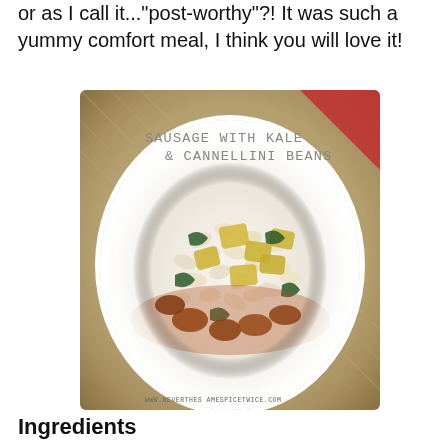or as I call it..."post-worthy"?! It was such a yummy comfort meal, I think you will love it!
[Figure (photo): A white bowl filled with Sausage with Kale and Cannellini Beans dish, showing white beans, yellow squash chunks, dark leafy kale, and pieces of sausage in a reddish-brown broth. Text overlay reads 'Sausage with Kale & Cannellini Beans'. Watermark: www.nevertheSamespicetwice.com]
Ingredients